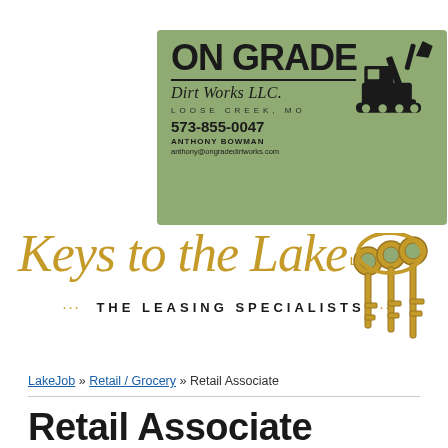[Figure (logo): On Grade Dirt Works LLC business card logo. Green background with large bold text ON GRADE, excavator illustration, Dirt Works LLC. subtitle, LOOSE CREEK, MO location, phone 573-855-0047, ANTHONY BOWMAN, anthony@ongradedirtworks.com]
[Figure (logo): Keys to the Lake LLC logo with script text in gold/tan color, tagline THE LEASING SPECIALISTS, and an image of three gold keys on the right]
LakeJob » Retail / Grocery » Retail Associate
Retail Associate